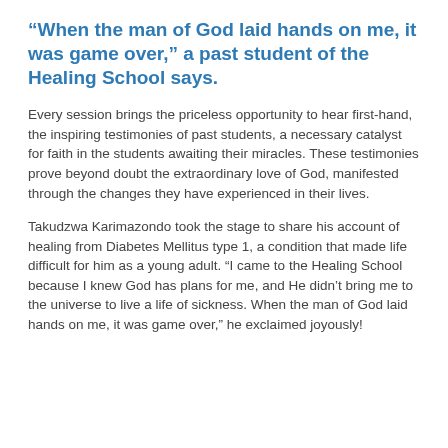“When the man of God laid hands on me, it was game over,” a past student of the Healing School says.
Every session brings the priceless opportunity to hear first-hand, the inspiring testimonies of past students, a necessary catalyst for faith in the students awaiting their miracles. These testimonies prove beyond doubt the extraordinary love of God, manifested through the changes they have experienced in their lives.
Takudzwa Karimazondo took the stage to share his account of healing from Diabetes Mellitus type 1, a condition that made life difficult for him as a young adult. “I came to the Healing School because I knew God has plans for me, and He didn’t bring me to the universe to live a life of sickness. When the man of God laid hands on me, it was game over,” he exclaimed joyously!